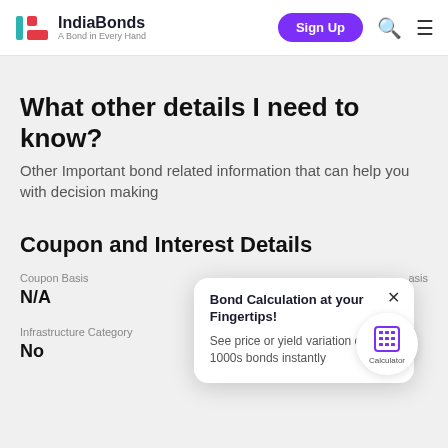IndiaBonds — A Bond in Every Hand
What other details I need to know?
Other Important bond related information that can help you with decision making
Coupon and Interest Details
Coupon Basis
N/A
Bond Calculation at your Fingertips!
See price or yield variation of 1000s bonds instantly
Infrastructure Category
No
Coupon Payment Date
Half Yearly, 15th October & 15th April